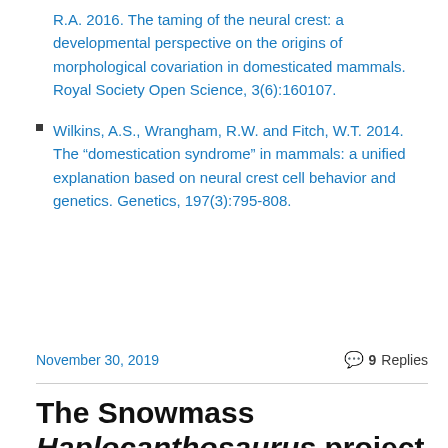R.A. 2016. The taming of the neural crest: a developmental perspective on the origins of morphological covariation in domesticated mammals. Royal Society Open Science, 3(6):160107.
Wilkins, A.S., Wrangham, R.W. and Fitch, W.T. 2014. The “domestication syndrome” in mammals: a unified explanation based on neural crest cell behavior and genetics. Genetics, 197(3):795-808.
November 30, 2019
9 Replies
The Snowmass Haplocanthosaurus project is now a museum exhibit